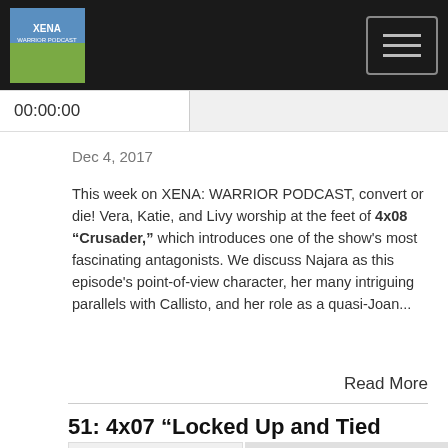Xena Warrior Podcast — navigation header
00:00:00
Dec 4, 2017
This week on XENA: WARRIOR PODCAST, convert or die! Vera, Katie, and Livy worship at the feet of 4x08 “Crusader,” which introduces one of the show's most fascinating antagonists. We discuss Najara as this episode's point-of-view character, her many intriguing parallels with Callisto, and her role as a quasi-Joan...
Read More
51: 4x07 “Locked Up and Tied Down”